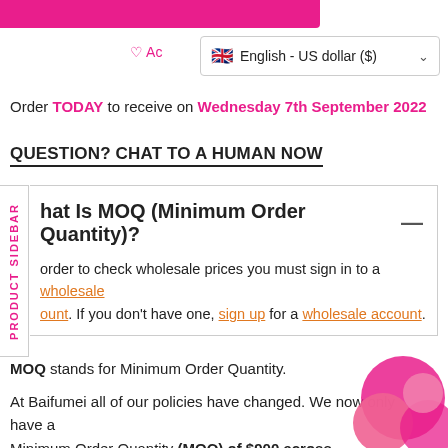[Figure (other): Pink bar/banner at top of page]
♡ Ac
🇬🇧 English - US dollar ($) ∨
Order TODAY to receive on Wednesday 7th September 2022
QUESTION? CHAT TO A HUMAN NOW
PRODUCT SIDEBAR
hat Is MOQ (Minimum Order Quantity)?
order to check wholesale prices you must sign in to a wholesale account. If you don't have one, sign up for a wholesale account.
MOQ stands for Minimum Order Quantity.
At Baifumei all of our policies have changed. We now only have a Minimum Order Quantity (MOQ) of $900 across multiple brands.
[Figure (illustration): Pink circles/bubbles decoration in bottom right corner]